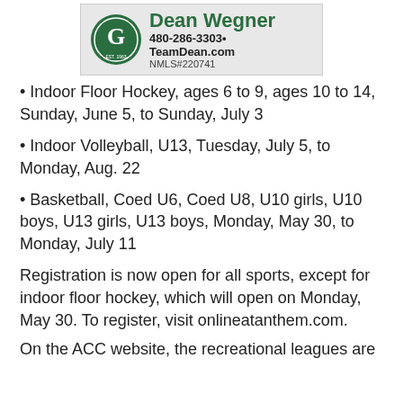[Figure (advertisement): Dean Wegner advertisement banner with Guardian Mortgage logo, phone 480-286-3303, TeamDean.com, NMLS#220741]
• Indoor Floor Hockey, ages 6 to 9, ages 10 to 14, Sunday, June 5, to Sunday, July 3
• Indoor Volleyball, U13, Tuesday, July 5, to Monday, Aug. 22
• Basketball, Coed U6, Coed U8, U10 girls, U10 boys, U13 girls, U13 boys, Monday, May 30, to Monday, July 11
Registration is now open for all sports, except for indoor floor hockey, which will open on Monday, May 30. To register, visit onlineatanthem.com.
On the ACC website, the recreational leagues are